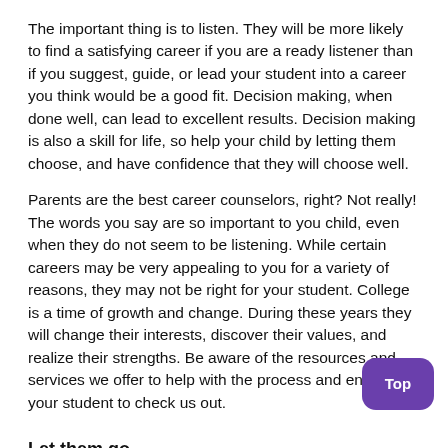The important thing is to listen. They will be more likely to find a satisfying career if you are a ready listener than if you suggest, guide, or lead your student into a career you think would be a good fit. Decision making, when done well, can lead to excellent results. Decision making is also a skill for life, so help your child by letting them choose, and have confidence that they will choose well.
Parents are the best career counselors, right? Not really! The words you say are so important to you child, even when they do not seem to be listening. While certain careers may be very appealing to you for a variety of reasons, they may not be right for your student. College is a time of growth and change. During these years they will change their interests, discover their values, and realize their strengths. Be aware of the resources and services we offer to help with the process and encourage your student to check us out.
Let them go.
Your child has looked to you for support, protection, and wisdom. If you have done a good job, he or she has begun the process of becoming the adult you will be proud of. Much of this transition will seem awkward and at times even painful. Avoid the temptation to